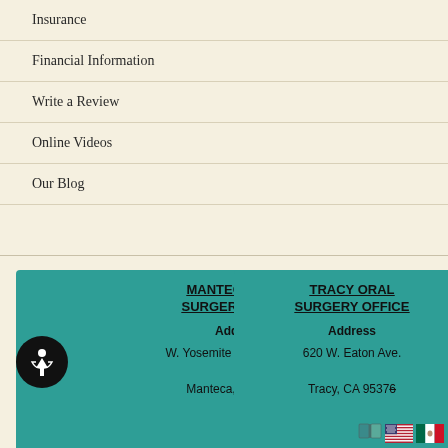Insurance
Financial Information
Write a Review
Online Videos
Our Blog
MANTECA ORAL SURGERY OFFICE
Address
W. Yosemite Avenue, Ste. 3
Manteca, CA 95337
TRACY ORAL SURGERY OFFICE
Address
620 W. Eaton Ave.
Tracy, CA 95376